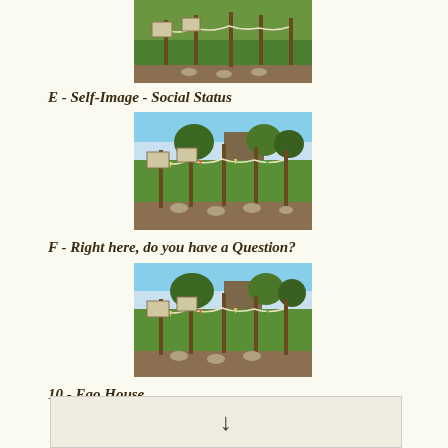[Figure (photo): Outdoor garden or park scene with wooden posts, string flags/bunting, and informational signs on green grass, partially cropped at top]
E  -  Self-Image - Social Status
[Figure (photo): Outdoor garden or park scene with wooden posts, string flags/bunting, trees, buildings in background, and informational signs on green grass]
F  -  Right here, do you have a Question?
[Figure (photo): Outdoor garden or park scene with wooden posts, string flags/bunting, trees, buildings in background, and informational signs on green grass]
10  -  Ego House
[Figure (other): Footer box with down arrow symbol]